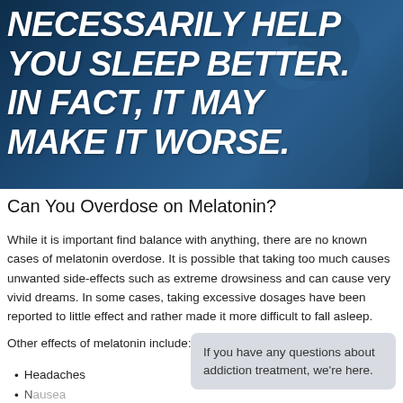[Figure (photo): Dark blue-tinted photo of a person holding their face in distress, with bold white italic text overlay reading 'NECESSARILY HELP you sleep better. In fact, it may MAKE IT WORSE.']
Can You Overdose on Melatonin?
While it is important find balance with anything, there are no known cases of melatonin overdose. It is possible that taking too much causes unwanted side-effects such as extreme drowsiness and can cause very vivid dreams. In some cases, taking excessive dosages have been reported to little effect and rather made it more difficult to fall asleep.
Other effects of melatonin include:
If you have any questions about addiction treatment, we're here.
Headaches
Nausea